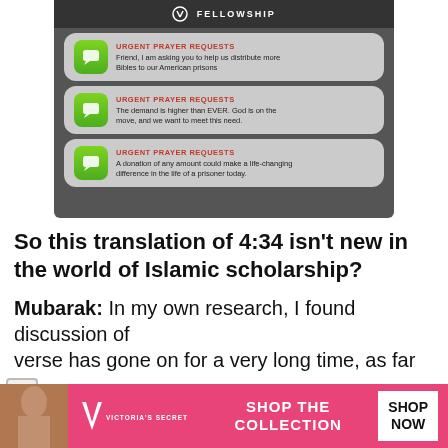[Figure (screenshot): Screenshot of a mobile/web interface showing three prayer request notification cards over a dark background image. Header shows 'FELLOWSHIP' with logo. Each card has a green message icon and reads 'URGENT PRAYER REQUESTS' in red with prayer request text about distributing Bibles to American prisons.]
So this translation of 4:34 isn't new in the world of Islamic scholarship?
Mubarak: In my own research, I found discussion of verse has gone on for a very long time, as far
[Figure (screenshot): Victoria's Secret advertisement banner at bottom. Pink background with VS logo, 'SHOP THE COLLECTION' text and 'SHOP NOW' white button. Model photo on left.]